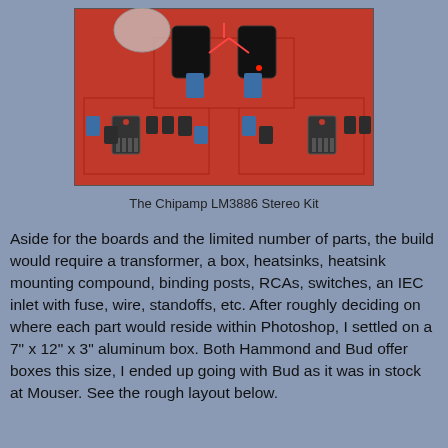[Figure (photo): Photo of the Chipamp LM3886 Stereo Kit — two red PCBs with large electrolytic capacitors, TO-220 amplifier ICs, and blue film capacitors, mounted on a red background.]
The Chipamp LM3886 Stereo Kit
Aside for the boards and the limited number of parts, the build would require a transformer, a box, heatsinks, heatsink mounting compound, binding posts, RCAs, switches, an IEC inlet with fuse, wire, standoffs, etc. After roughly deciding on where each part would reside within Photoshop, I settled on a 7" x 12" x 3" aluminum box. Both Hammond and Bud offer boxes this size, I ended up going with Bud as it was in stock at Mouser. See the rough layout below.